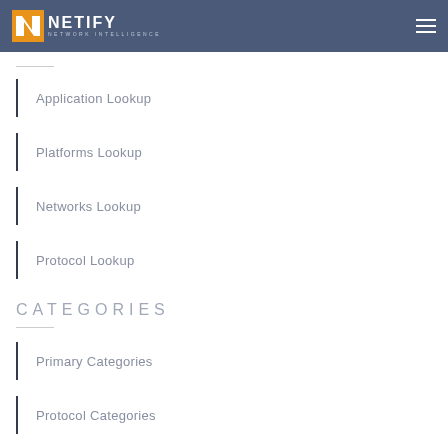NETIFY NETWORK INTELLIGENCE
Application Lookup
Platforms Lookup
Networks Lookup
Protocol Lookup
CATEGORIES
Primary Categories
Protocol Categories